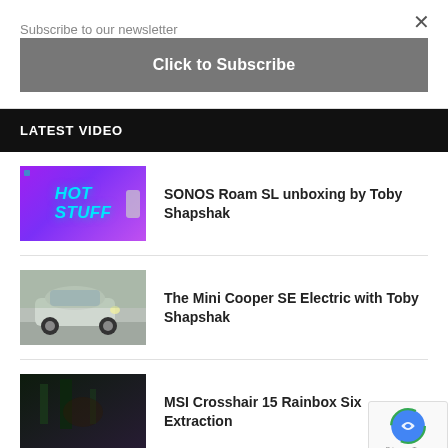Subscribe to our newsletter
Click to Subscribe
LATEST VIDEO
SONOS Roam SL unboxing by Toby Shapshak
[Figure (photo): Hot Stuff thumbnail with purple gradient background and HOT STUFF text in cyan]
The Mini Cooper SE Electric with Toby Shapshak
[Figure (photo): Mini Cooper SE Electric car driving on street]
MSI Crosshair 15 Rainbox Six Extraction